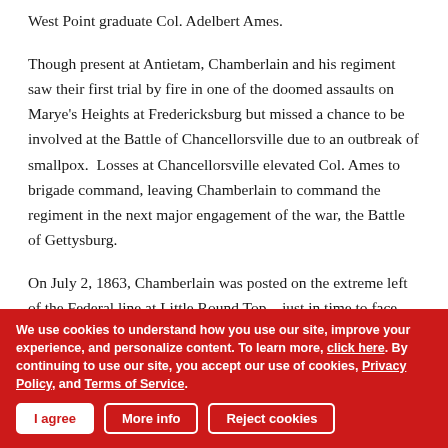West Point graduate Col. Adelbert Ames.
Though present at Antietam, Chamberlain and his regiment saw their first trial by fire in one of the doomed assaults on Marye's Heights at Fredericksburg but missed a chance to be involved at the Battle of Chancellorsville due to an outbreak of smallpox.  Losses at Chancellorsville elevated Col. Ames to brigade command, leaving Chamberlain to command the regiment in the next major engagement of the war, the Battle of Gettysburg.
On July 2, 1863, Chamberlain was posted on the extreme left of the Federal line at Little Round Top—just in time to face Confederate General John B. Hood's attack on the Union flank.  Exhausted after repulsing repeated assaults, the 20th
We use cookies to understand how you use our site, improve your experience, and personalize content. To learn more, click here. By continuing to use our site, you accept our use of cookies, Privacy Policy, and Terms of Service.
I agree  More info  Reject cookies